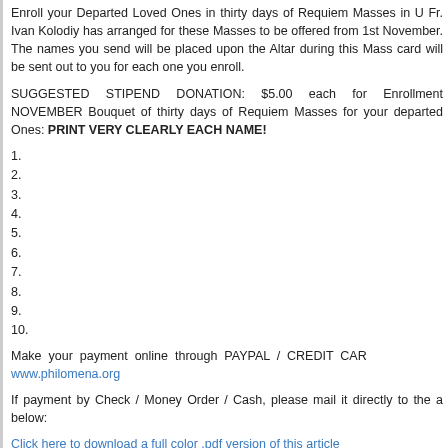Enroll your Departed Loved Ones in thirty days of Requiem Masses in U Fr. Ivan Kolodiy has arranged for these Masses to be offered from 1st November. The names you send will be placed upon the Altar during this Mass card will be sent out to you for each one you enroll.
SUGGESTED STIPEND DONATION: $5.00 each for Enrollment NOVEMBER Bouquet of thirty days of Requiem Masses for your departed Ones: PRINT VERY CLEARLY EACH NAME!
1.
2.
3.
4.
5.
6.
7.
8.
9.
10.
Make your payment online through PAYPAL / CREDIT CAR www.philomena.org
If payment by Check / Money Order / Cash, please mail it directly to the a below:
Click here to download a full color .pdf version of this article